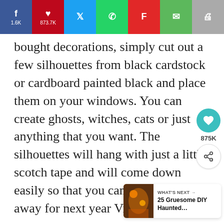[Figure (screenshot): Social media share bar with Facebook (1.6K), Pinterest (873.7K), Twitter, WhatsApp, Flipboard, Email, and Print buttons]
bought decorations, simply cut out a few silhouettes from black cardstock or cardboard painted black and place them on your windows. You can create ghosts, witches, cats or just anything that you want. The silhouettes will hang with just a little scotch tape and will come down easily so that you can store them away for next year Via – bhg